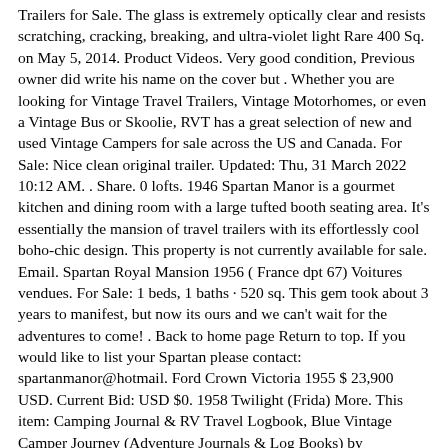Trailers for Sale. The glass is extremely optically clear and resists scratching, cracking, breaking, and ultra-violet light Rare 400 Sq. on May 5, 2014. Product Videos. Very good condition, Previous owner did write his name on the cover but . Whether you are looking for Vintage Travel Trailers, Vintage Motorhomes, or even a Vintage Bus or Skoolie, RVT has a great selection of new and used Vintage Campers for sale across the US and Canada. For Sale: Nice clean original trailer. Updated: Thu, 31 March 2022 10:12 AM. . Share. 0 lofts. 1946 Spartan Manor is a gourmet kitchen and dining room with a large tufted booth seating area. It's essentially the mansion of travel trailers with its effortlessly cool boho-chic design. This property is not currently available for sale. Email. Spartan Royal Mansion 1956 ( France dpt 67) Voitures vendues. For Sale: 1 beds, 1 baths · 520 sq. This gem took about 3 years to manifest, but now its ours and we can't wait for the adventures to come! . Back to home page Return to top. If you would like to list your Spartan please contact: spartanmanor@hotmail. Ford Crown Victoria 1955 $ 23,900 USD. Current Bid: USD $0. 1958 Twilight (Frida) More. This item: Camping Journal & RV Travel Logbook, Blue Vintage Camper Journey (Adventure Journals & Log Books) by Enchanted Willow Paperback $12. Find new and used 1954 Spartan Royal Mansion RVs for sale by RV dealers and private sellers near you. 1954 Spartan Imperial Mansion Double-Ender 37 ft. The top-of-the-line dual-axle 1951 Spartan Royal Mansion carried an original base price of more than $4700. . the equivalent of about $46,500 today.